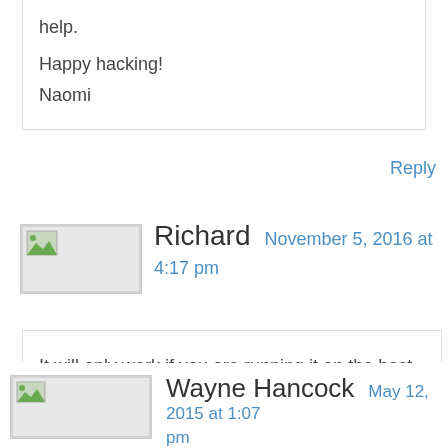help.
Happy hacking!
Naomi
Reply
Richard   November 5, 2016 at 4:17 pm
It will only work if you are running it on the host – otherwise change the IP address
Reply
Wayne Hancock   May 12, 2015 at 1:07 pm